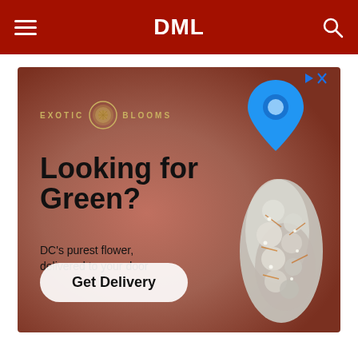DML
[Figure (illustration): Advertisement for Exotic Blooms cannabis delivery service. Background shows a warm brownish-red gradient. Features the Exotic Blooms logo (circular seal), a blue location pin icon, bold headline text 'Looking for Green?', subtext 'DC's purest flower, delivered to your door', a 'Get Delivery' call-to-action button, and a close-up photo of a cannabis flower bud on the right side. Small ad badge icons in top-right corner.]